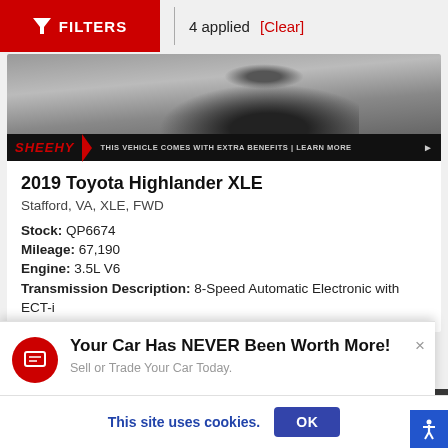FILTERS  |  4 applied  [Clear]
[Figure (screenshot): Partial view of a car (grayscale photo cropped to top portion)]
SHEEHY  THIS VEHICLE COMES WITH EXTRA BENEFITS | LEARN MORE ▶
2019 Toyota Highlander XLE
Stafford, VA, XLE, FWD
Stock: QP6674
Mileage: 67,190
Engine: 3.5L V6
Transmission Description: 8-Speed Automatic Electronic with ECT-i
Your Car Has NEVER Been Worth More!
Sell or Trade Your Car Today.
This site uses cookies.  OK